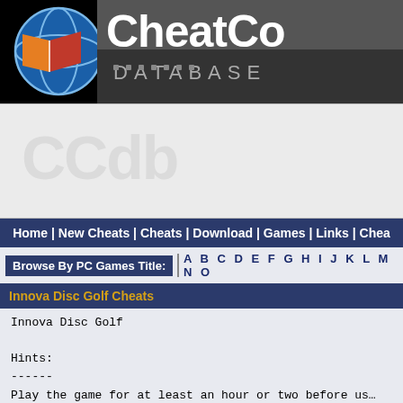[Figure (logo): CheatCC Database logo banner with blue globe and book icon on black background with text 'CheatCC' and 'DATABASE']
[Figure (other): Advertisement area - light gray rectangle]
Home | New Cheats | Cheats | Download | Games | Links | Cheat...
Browse By PC Games Title:   A B C D E F G H I J K L M N O...
Innova Disc Golf Cheats
Innova Disc Golf

Hints:
------
Play the game for at least an hour or two before us... a real-life Frisbee. It does get better with time th... actually quite good and you will reach the point whe... has matured enough that you can pull off maneuvers ... you once thought impossible.